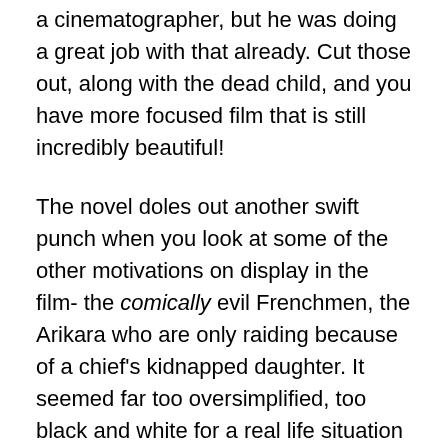a cinematographer, but he was doing a great job with that already. Cut those out, along with the dead child, and you have more focused film that is still incredibly beautiful!
The novel doles out another swift punch when you look at some of the other motivations on display in the film- the comically evil Frenchmen, the Arikara who are only raiding because of a chief's kidnapped daughter. It seemed far too oversimplified, too black and white for a real life situation that was undeniably complex and tragic and which is already reduced to caricature so often. This is a lesser gripe, but was another change I found odd and not particularly effective within the narrative.
Bearing out the longest of this post is the relationship betw...